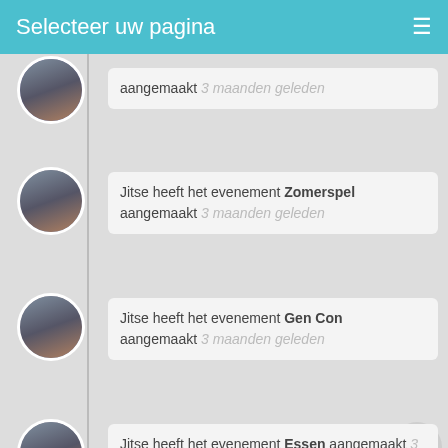Selecteer uw pagina
aangemaakt 3 maanden geleden
Jitse heeft het evenement Zomerspel aangemaakt 3 maanden geleden
Jitse heeft het evenement Gen Con aangemaakt 3 maanden geleden
Jitse heeft het evenement Essen aangemaakt 3 maanden geleden